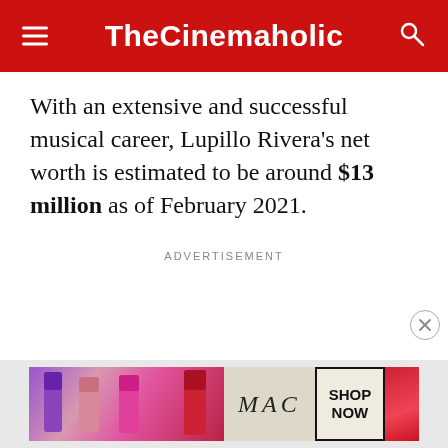TheCinemaholic
With an extensive and successful musical career, Lupillo Rivera's net worth is estimated to be around $13 million as of February 2021.
ADVERTISEMENT
[Figure (photo): MAC cosmetics advertisement banner showing lipsticks with 'SHOP NOW' button]